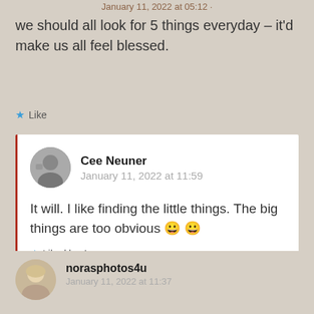January 11, 2022 at 05:12
we should all look for 5 things everyday – it'd make us all feel blessed.
★ Like
Cee Neuner
January 11, 2022 at 11:59
It will. I like finding the little things. The big things are too obvious 😀 😀
★ Liked by 1 person
norasphotos4u